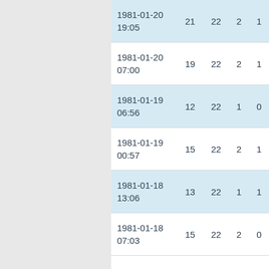| date | col1 | col2 | col3 | col4 |
| --- | --- | --- | --- | --- |
| 1981-01-20 19:05 | 21 | 22 | 2 | 1 |
| 1981-01-20 07:00 | 19 | 22 | 2 | 1 |
| 1981-01-19 06:56 | 12 | 22 | 1 | 0 |
| 1981-01-19 00:57 | 15 | 22 | 2 | 1 |
| 1981-01-18 13:06 | 13 | 22 | 1 | 1 |
| 1981-01-18 07:03 | 15 | 22 | 2 | 0 |